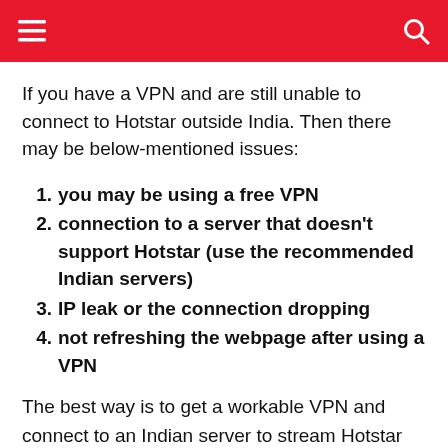If you have a VPN and are still unable to connect to Hotstar outside India. Then there may be below-mentioned issues:
you may be using a free VPN
connection to a server that doesn't support Hotstar (use the recommended Indian servers)
IP leak or the connection dropping
not refreshing the webpage after using a VPN
The best way is to get a workable VPN and connect to an Indian server to stream Hotstar outside India. After connecting refresh the page or app. If that too does not work, contact the customer support department